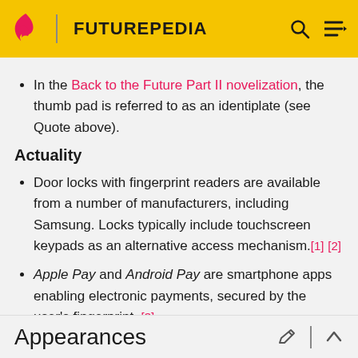FUTUREPEDIA
In the Back to the Future Part II novelization, the thumb pad is referred to as an identiplate (see Quote above).
Actuality
Door locks with fingerprint readers are available from a number of manufacturers, including Samsung. Locks typically include touchscreen keypads as an alternative access mechanism.[1] [2]
Apple Pay and Android Pay are smartphone apps enabling electronic payments, secured by the user's fingerprint. [3]
Appearances